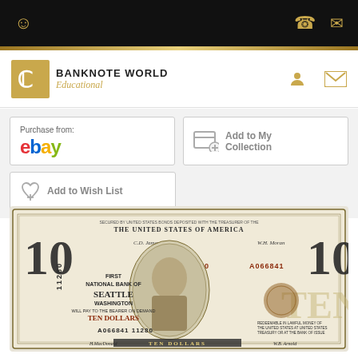Banknote World Educational - navigation bar with user, phone, and email icons
[Figure (logo): Banknote World Educational logo with golden spiral icon]
Purchase from: ebay
Add to My Collection
Add to Wish List
[Figure (photo): United States $10 National Currency banknote from the First National Bank of Seattle, Washington. Serial number A066841, charter number 11280. Features a portrait of Alexander Hamilton in the center. Text reads: THE UNITED STATES OF AMERICA, FIRST NATIONAL BANK OF SEATTLE WASHINGTON, WILL PAY TO THE BEARER ON DEMAND TEN DOLLARS, A066841 11280. Signatures visible at bottom.]